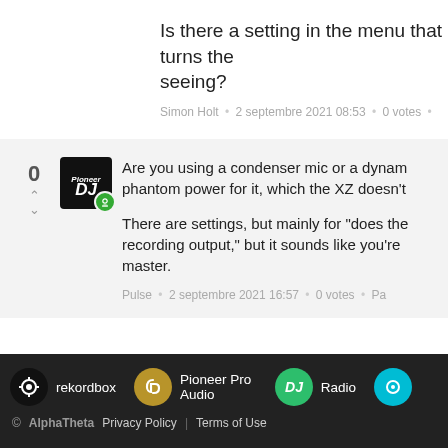Is there a setting in the menu that turns the seeing?
Simon Holt • 2 septembre 2021 08:53 • 0 votes •
Are you using a condenser mic or a dynam phantom power for it, which the XZ doesn't
There are settings, but mainly for "does the recording output," but it sounds like you're master.
Pulse • 2 septembre 2021 16:57 • 0 votes • Pa
rekordbox   Pioneer Pro Audio   Radio   © AlphaTheta   Privacy Policy | Terms of Use